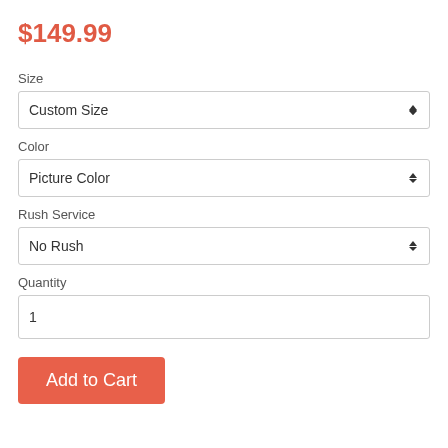$149.99
Size
Custom Size
Color
Picture Color
Rush Service
No Rush
Quantity
1
Add to Cart